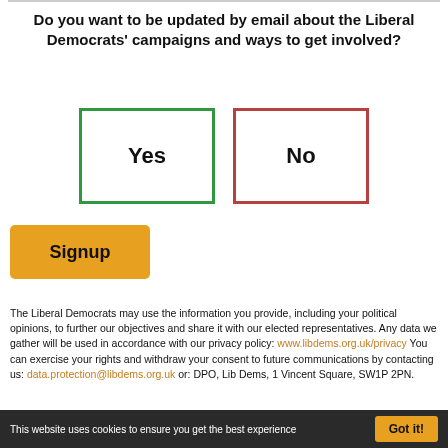Do you want to be updated by email about the Liberal Democrats' campaigns and ways to get involved?
[Figure (other): Two large buttons: 'Yes' with green border and 'No' with red border, for user selection]
[Figure (other): Orange 'Signup' button]
The Liberal Democrats may use the information you provide, including your political opinions, to further our objectives and share it with our elected representatives. Any data we gather will be used in accordance with our privacy policy: www.libdems.org.uk/privacy You can exercise your rights and withdraw your consent to future communications by contacting us: data.protection@libdems.org.uk or: DPO, Lib Dems, 1 Vincent Square, SW1P 2PN.
This website uses cookies to ensure you get the best experience   Got it!